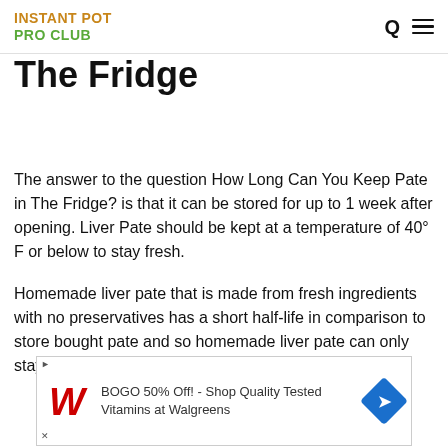INSTANT POT PRO CLUB
How Long Can You Keep Pate in The Fridge
The answer to the question How Long Can You Keep Pate in The Fridge? is that it can be stored for up to 1 week after opening. Liver Pate should be kept at a temperature of 40° F or below to stay fresh.
Homemade liver pate that is made from fresh ingredients with no preservatives has a short half-life in comparison to store bought pate and so homemade liver pate can only stay in the fridge for 4-5 days.
[Figure (other): Advertisement banner: BOGO 50% Off! - Shop Quality Tested Vitamins at Walgreens, with Walgreens W logo and blue diamond arrow icon]